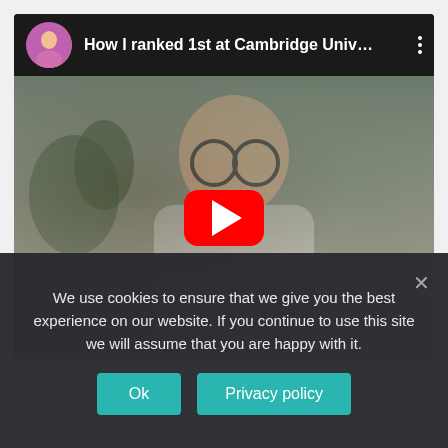[Figure (screenshot): YouTube video embed showing 'How I ranked 1st at Cambridge Univ...' with a thumbnail of a young man with glasses studying notes, and a red YouTube play button overlay.]
We use cookies to ensure that we give you the best experience on our website. If you continue to use this site we will assume that you are happy with it.
Ok
Privacy policy